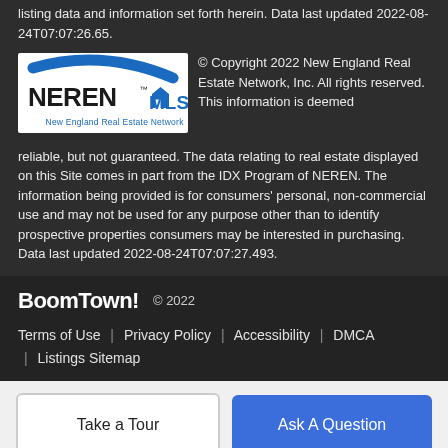listing data and information set forth herein. Data last updated 2022-08-24T07:07:26.65.
[Figure (logo): NEREN MLS - New England Real Estate Network logo with blue swoosh and house icon]
© Copyright 2022 New England Real Estate Network, Inc. All rights reserved. This information is deemed reliable, but not guaranteed. The data relating to real estate displayed on this Site comes in part from the IDX Program of NEREN. The information being provided is for consumers' personal, non-commercial use and may not be used for any purpose other than to identify prospective properties consumers may be interested in purchasing. Data last updated 2022-08-24T07:07:27.493.
BoomTown! © 2022 | Terms of Use | Privacy Policy | Accessibility | DMCA | Listings Sitemap
Take a Tour | Ask A Question